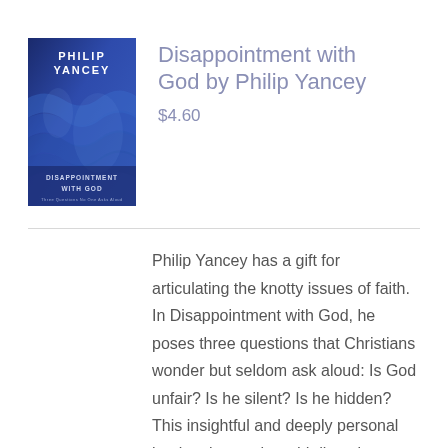[Figure (illustration): Book cover of 'Disappointment with God' by Philip Yancey — dark blue cover with the author's name 'PHILIP YANCEY' in white at the top, and 'DISAPPOINTMENT WITH GOD' text at the bottom, with a water/wave texture background.]
Disappointment with God by Philip Yancey
$4.60
Philip Yancey has a gift for articulating the knotty issues of faith. In Disappointment with God, he poses three questions that Christians wonder but seldom ask aloud: Is God unfair? Is he silent? Is he hidden? This insightful and deeply personal book points to the odd disparity between